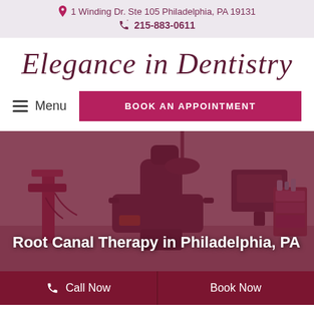1 Winding Dr. Ste 105 Philadelphia, PA 19131 | 215-883-0611
Elegance in Dentistry
Menu | BOOK AN APPOINTMENT
[Figure (photo): Dental office interior with a dental chair, equipment, and medical furnishings, overlaid with a dark maroon/burgundy tint. Text overlay reads: Root Canal Therapy in Philadelphia, PA]
Call Now | Book Now